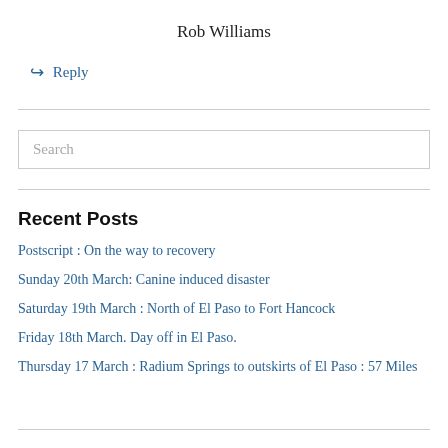Rob Williams
↳ Reply
Search
Recent Posts
Postscript :  On the way to recovery
Sunday 20th March:  Canine induced disaster
Saturday 19th March :  North of El Paso to Fort Hancock
Friday 18th March.  Day off in El Paso.
Thursday 17 March : Radium Springs to outskirts of El Paso : 57 Miles